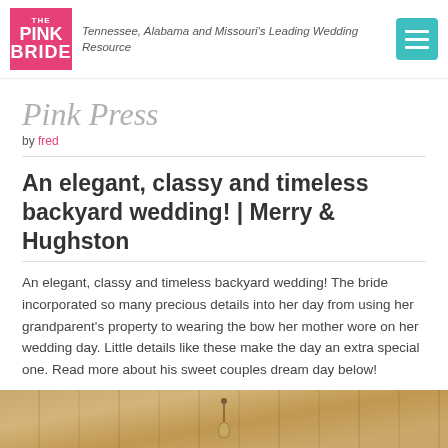THE PINK BRIDE — Tennessee, Alabama and Missouri's Leading Wedding Resource
Pink Press
by fred
An elegant, classy and timeless backyard wedding! | Merry & Hughston
An elegant, classy and timeless backyard wedding! The bride incorporated so many precious details into her day from using her grandparent's property to wearing the bow her mother wore on her wedding day. Little details like these make the day an extra special one. Read more about his sweet couples dream day below!
[Figure (photo): Interior wooden ceiling of a barn or outdoor venue with a hanging light fixture, warm golden tones from natural wood planks]